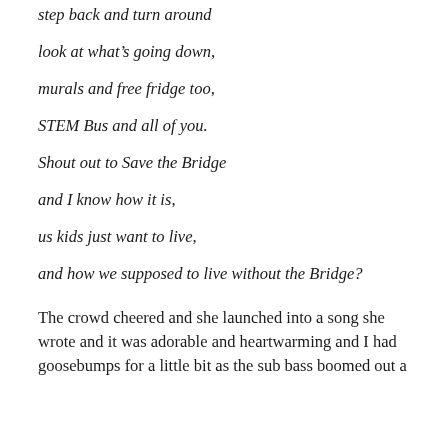step back and turn around
look at what's going down,
murals and free fridge too,
STEM Bus and all of you.
Shout out to Save the Bridge
and I know how it is,
us kids just want to live,
and how we supposed to live without the Bridge?
The crowd cheered and she launched into a song she wrote and it was adorable and heartwarming and I had goosebumps for a little bit as the sub bass boomed out a